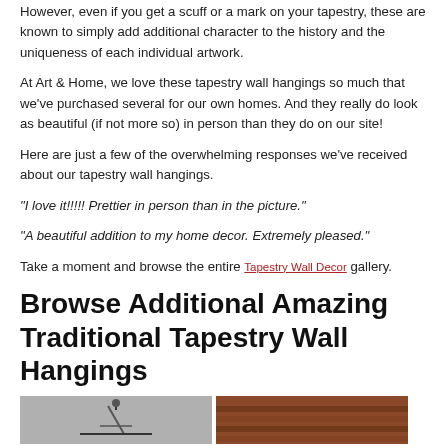However, even if you get a scuff or a mark on your tapestry, these are known to simply add additional character to the history and the uniqueness of each individual artwork.
At Art & Home, we love these tapestry wall hangings so much that we've purchased several for our own homes. And they really do look as beautiful (if not more so) in person than they do on our site!
Here are just a few of the overwhelming responses we've received about our tapestry wall hangings.
"I love it!!!!! Prettier in person than in the picture."
"A beautiful addition to my home decor. Extremely pleased."
Take a moment and browse the entire Tapestry Wall Decor gallery.
Browse Additional Amazing Traditional Tapestry Wall Hangings
[Figure (photo): Two tapestry wall hanging product images side by side at the bottom of the page]